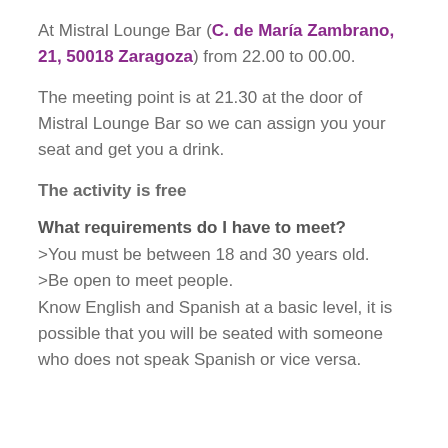At Mistral Lounge Bar (C. de María Zambrano, 21, 50018 Zaragoza) from 22.00 to 00.00.
The meeting point is at 21.30 at the door of Mistral Lounge Bar so we can assign you your seat and get you a drink.
The activity is free
What requirements do I have to meet?
>You must be between 18 and 30 years old.
>Be open to meet people.
Know English and Spanish at a basic level, it is possible that you will be seated with someone who does not speak Spanish or vice versa.